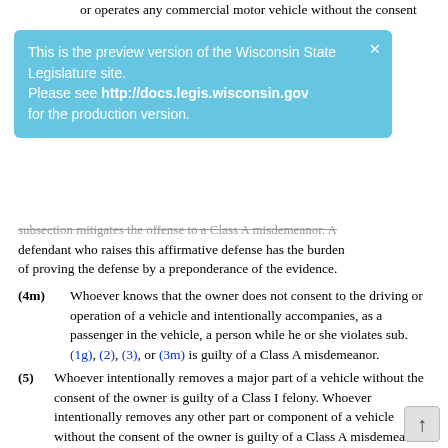or operates any commercial motor vehicle without the consent
[Figure (screenshot): Blue notification banner: 'This is the preview version of the Wisconsin State Legislature site. Please see http://docs.legis.wisconsin.gov for the production version.' with a close X button.]
subsection mitigates the offense to a Class A misdemeanor. A defendant who raises this affirmative defense has the burden of proving the defense by a preponderance of the evidence.
(4m) Whoever knows that the owner does not consent to the driving or operation of a vehicle and intentionally accompanies, as a passenger in the vehicle, a person while he or she violates sub. (1g), (2), (3), or (3m) is guilty of a Class A misdemeanor.
(5) Whoever intentionally removes a major part of a vehicle without the consent of the owner is guilty of a Class I felony. Whoever intentionally removes any other part or component of a vehicle without the consent of the owner is guilty of a Class A misdemeanor.
(6)
(a) In this subsection, “pecuniary loss” has the meaning described in s. 943.245 (1).
(b) In addition to the other penalties provided for violation of this section, a judge shall require a violator of sub. (2g) (3g) to pay restitution for any damage he or she causes to a